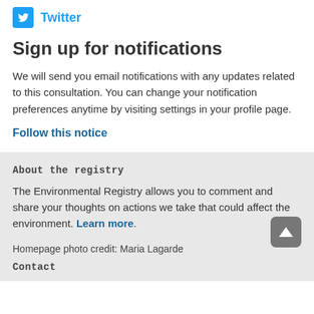[Figure (logo): Twitter bird icon in blue square]
Sign up for notifications
We will send you email notifications with any updates related to this consultation. You can change your notification preferences anytime by visiting settings in your profile page.
Follow this notice
About the registry
The Environmental Registry allows you to comment and share your thoughts on actions we take that could affect the environment. Learn more.
Homepage photo credit: Maria Lagarde
Contact